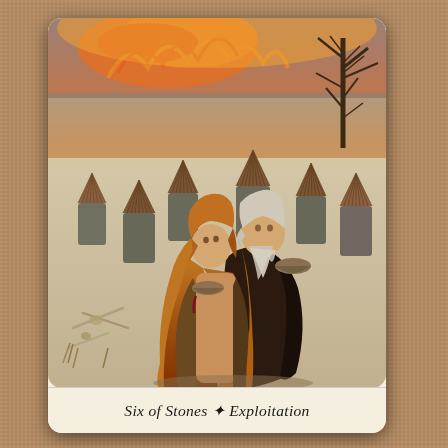[Figure (illustration): A tarot card titled 'Six of Stones – Exploitation'. The card image depicts two figures in a wintry, barren landscape. A young woman with long flowing auburn hair, dressed in primitive fur/hide clothing, holds a bowl and looks upward. Behind her stands an old man with long white hair and beard, also wearing dark fur clothing, holding a bowl and looking upward. Six stone pillars topped with conical thatched/braided structures (beehives or stone cairns) are arranged in the background. The far background shows flames and fire in an orange and yellow sky, with a bare dead tree to the right. The foreground has scattered bones and dry grass on sandy/snowy ground. Below the illustration, on a cream white band, the text reads: 'Six of Stones ✦ Exploitation' in italic serif font.]
Six of Stones ✦ Exploitation